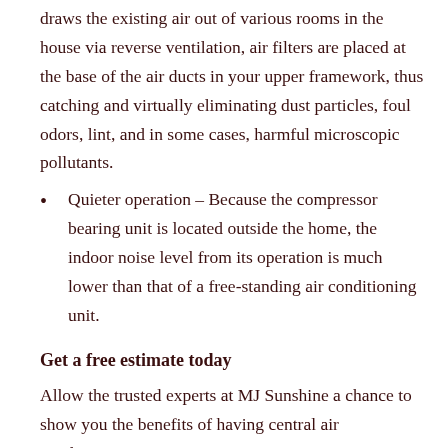draws the existing air out of various rooms in the house via reverse ventilation, air filters are placed at the base of the air ducts in your upper framework, thus catching and virtually eliminating dust particles, foul odors, lint, and in some cases, harmful microscopic pollutants.
Quieter operation – Because the compressor bearing unit is located outside the home, the indoor noise level from its operation is much lower than that of a free-standing air conditioning unit.
Get a free estimate today
Allow the trusted experts at MJ Sunshine a chance to show you the benefits of having central air conditioning system.